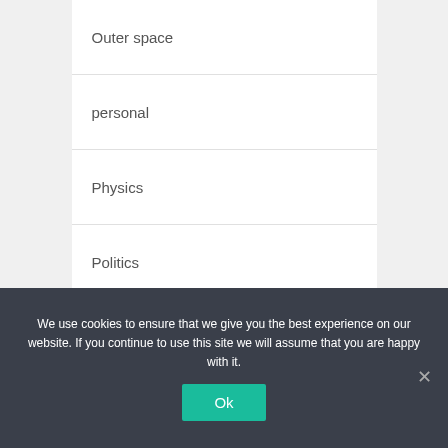Outer space
personal
Physics
Politics
RealEstate
Science
Small Business
We use cookies to ensure that we give you the best experience on our website. If you continue to use this site we will assume that you are happy with it.